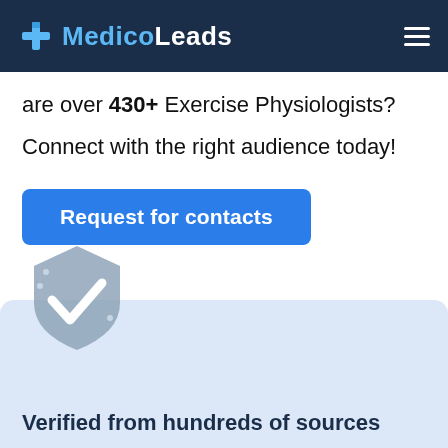MedicoLeads
are over 430+ Exercise Physiologists?
Connect with the right audience today!
Request for contacts
[Figure (illustration): Shield with checkmark icon in gray, representing verified/trusted data]
Verified from hundreds of sources